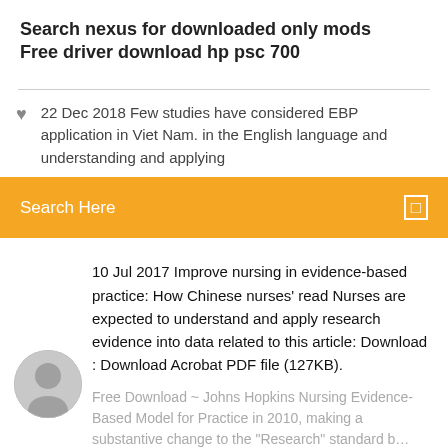Search nexus for downloaded only mods
Free driver download hp psc 700
22 Dec 2018 Few studies have considered EBP application in Viet Nam. in the English language and understanding and applying
Search Here
10 Jul 2017 Improve nursing in evidence-based practice: How Chinese nurses' read Nurses are expected to understand and apply research evidence into data related to this article: Download : Download Acrobat PDF file (127KB).
Free Download ~ Johns Hopkins Nursing Evidence-Based Model for Practice in 2010, making a substantive change to the "Research" standard b…